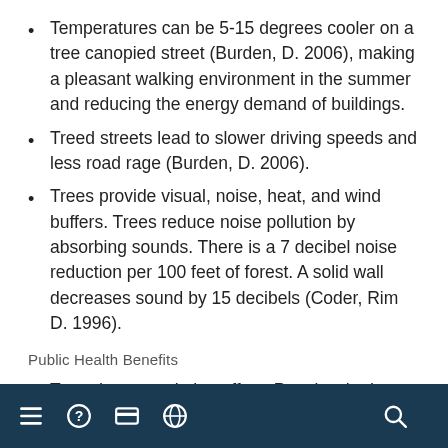Temperatures can be 5-15 degrees cooler on a tree canopied street (Burden, D. 2006), making a pleasant walking environment in the summer and reducing the energy demand of buildings.
Treed streets lead to slower driving speeds and less road rage (Burden, D. 2006).
Trees provide visual, noise, heat, and wind buffers. Trees reduce noise pollution by absorbing sounds. There is a 7 decibel noise reduction per 100 feet of forest. A solid wall decreases sound by 15 decibels (Coder, Rim D. 1996).
Public Health Benefits
Trees have a calming effect. People who have access to trees and green spaces have reduced blood pressure and improved overall emotional and psychological health (Wolf, K. 2000).